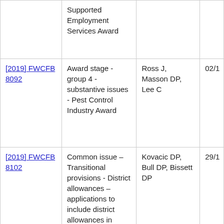|  |  |  |  |
| --- | --- | --- | --- |
|  | Supported Employment Services Award |  |  |
| [2019] FWCFB 8092 | Award stage - group 4 - substantive issues - Pest Control Industry Award | Ross J, Masson DP, Lee C | 02/1 |
| [2019] FWCFB 8102 | Common issue – Transitional provisions - District allowances – applications to include district allowances in several awards – applications dismissed | Kovacic DP, Bull DP, Bissett DP | 29/1 |